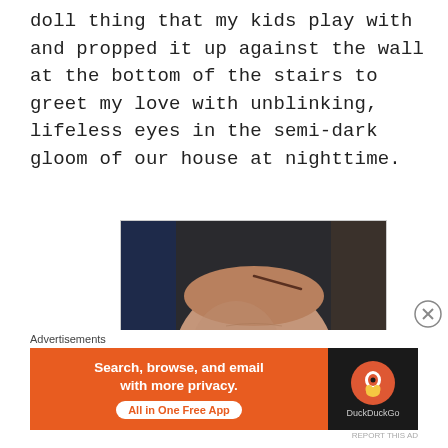doll thing that my kids play with and propped it up against the wall at the bottom of the stairs to greet my love with unblinking, lifeless eyes in the semi-dark gloom of our house at nighttime.
[Figure (photo): Close-up photograph of a creepy, worn antique baby doll with cracked porcelain-like face, glassy eyes, and deteriorated features, wearing a dark outfit.]
Advertisements
[Figure (screenshot): DuckDuckGo advertisement banner. Text reads: 'Search, browse, and email with more privacy. All in One Free App' with DuckDuckGo logo on dark right panel.]